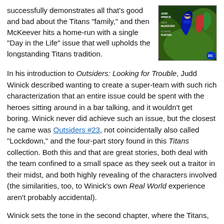successfully demonstrates all that's good and bad about the Titans "family," and then McKeever hits a home-run with a single "Day in the Life" issue that well upholds the longstanding Titans tradition.
[Figure (illustration): Comic book cover showing Teen Titans characters with credits: Judd Winick, Sean McKeever, Howard Porter, DC logo]
In his introduction to Outsiders: Looking for Trouble, Judd Winick described wanting to create a super-team with such rich characterization that an entire issue could be spent with the heroes sitting around in a bar talking, and it wouldn't get boring. Winick never did achieve such an issue, but the closest he came was Outsiders #23, not coincidentally also called "Lockdown," and the four-part story found in this Titans collection. Both this and that are great stories, both deal with the team confined to a small space as they seek out a traitor in their midst, and both highly revealing of the characters involved (the similarities, too, to Winick's own Real World experience aren't probably accidental).
Winick sets the tone in the second chapter, where the Titans,